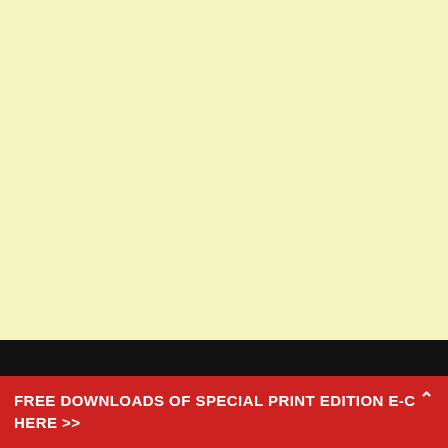[Figure (other): Blank cream/light yellow background area filling the upper portion of the page]
FREE DOWNLOADS OF SPECIAL PRINT EDITION E-C HERE >>